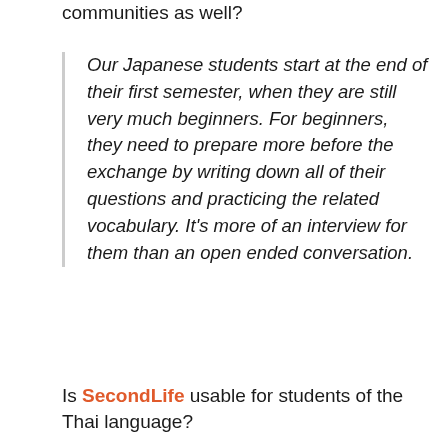communities as well?
Our Japanese students start at the end of their first semester, when they are still very much beginners. For beginners, they need to prepare more before the exchange by writing down all of their questions and practicing the related vocabulary. It’s more of an interview for them than an open ended conversation.
Is SecondLife usable for students of the Thai language?